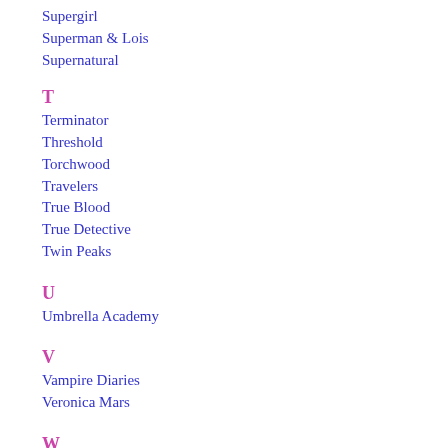Supergirl
Superman & Lois
Supernatural
T
Terminator
Threshold
Torchwood
Travelers
True Blood
True Detective
Twin Peaks
U
Umbrella Academy
V
Vampire Diaries
Veronica Mars
W
WandaVision
Watchmen
Westworld
What If...?